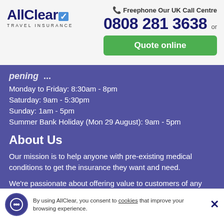[Figure (logo): AllClear Travel Insurance logo with checkmark]
Freephone Our UK Call Centre
0808 281 3638  or
Quote online
Monday to Friday: 8:30am - 8pm
Saturday: 9am - 5:30pm
Sunday: 1am - 5pm
Summer Bank Holiday (Mon 29 August): 9am - 5pm
About Us
Our mission is to help anyone with pre-existing medical conditions to get the insurance they want and need.
We're passionate about offering value to customers of any age,
By using AllClear, you consent to cookies that improve your browsing experience.